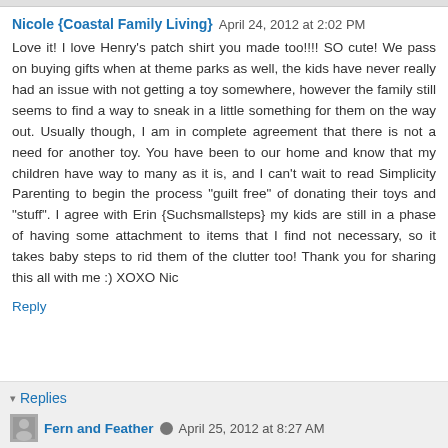Nicole {Coastal Family Living}  April 24, 2012 at 2:02 PM
Love it! I love Henry's patch shirt you made too!!!! SO cute! We pass on buying gifts when at theme parks as well, the kids have never really had an issue with not getting a toy somewhere, however the family still seems to find a way to sneak in a little something for them on the way out. Usually though, I am in complete agreement that there is not a need for another toy. You have been to our home and know that my children have way to many as it is, and I can't wait to read Simplicity Parenting to begin the process "guilt free" of donating their toys and "stuff". I agree with Erin {Suchsmallsteps} my kids are still in a phase of having some attachment to items that I find not necessary, so it takes baby steps to rid them of the clutter too! Thank you for sharing this all with me :) XOXO Nic
Reply
Replies
Fern and Feather  April 25, 2012 at 8:27 AM